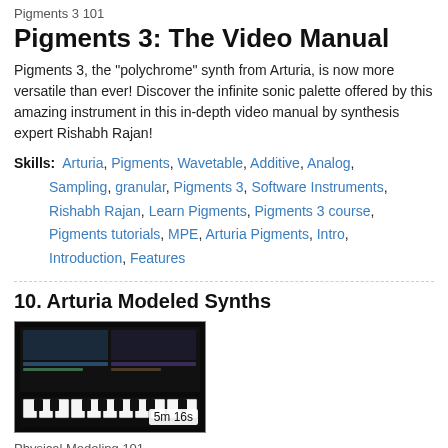Pigments 3 101
Pigments 3: The Video Manual
Pigments 3, the "polychrome" synth from Arturia, is now more versatile than ever! Discover the infinite sonic palette offered by this amazing instrument in this in-depth video manual by synthesis expert Rishabh Rajan!
Skills: Arturia, Pigments, Wavetable, Additive, Analog, Sampling, granular, Pigments 3, Software Instruments, Rishabh Rajan, Learn Pigments, Pigments 3 course, Pigments tutorials, MPE, Arturia Pigments, Intro, Introduction, Features
10. Arturia Modeled Synths
[Figure (screenshot): Thumbnail image of Arturia Modeled Synths video showing synthesizer interface, duration badge '5m 16s']
Physical Modeling 101
Physical Modeling Explored
What exactly is Physical Modeling and what can it do for your music? Join audio expert Joe Albano in this course to find out!